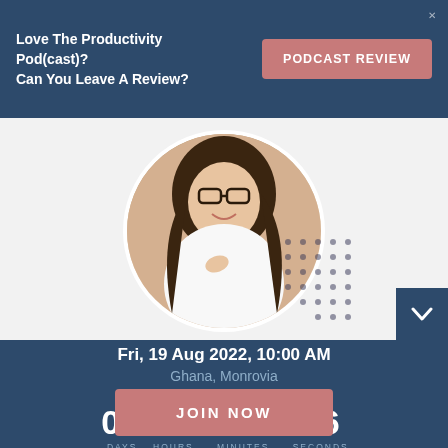Love The Productivity Pod(cast)?
Can You Leave A Review?
PODCAST REVIEW
[Figure (photo): Smiling woman with glasses and long dark hair, wearing a white top, hands clasped, circular crop photo with dot pattern decoration]
Fri, 19 Aug 2022, 10:00 AM
Ghana, Monrovia
VIEW MORE DATES
00 DAYS  07 : 49 : 46
         HOURS  MINUTES  SECONDS
JOIN NOW